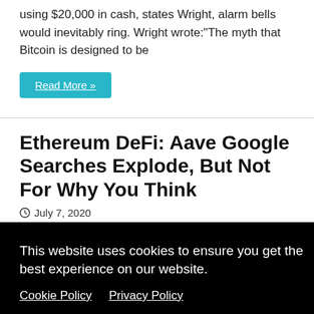using $20,000 in cash, states Wright, alarm bells would inevitably ring. Wright wrote:“The myth that Bitcoin is designed to be
Read More »
Ethereum DeFi: Aave Google Searches Explode, But Not For Why You Think
July 7, 2020
This website uses cookies to ensure you get the best experience on our website.
Cookie Policy    Privacy Policy
Got it!
ns in
little
ts way
d
haps
ve
est
lending protocol on Ethereum, with over $138 million locked